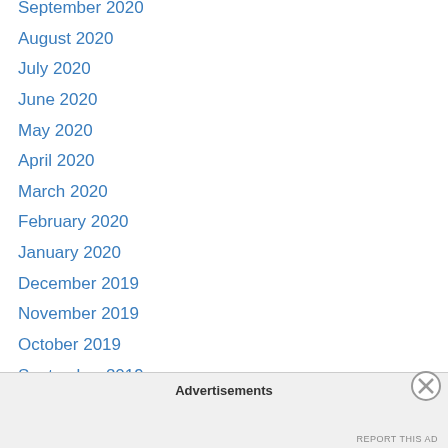September 2020
August 2020
July 2020
June 2020
May 2020
April 2020
March 2020
February 2020
January 2020
December 2019
November 2019
October 2019
September 2019
August 2019
July 2019
June 2019
May 2019
Advertisements
REPORT THIS AD